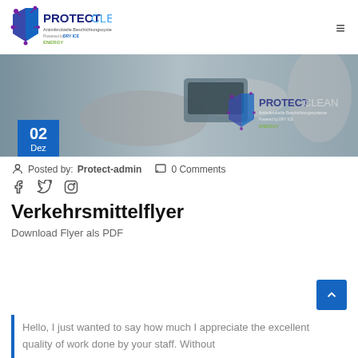[Figure (logo): ProtectClean logo with shield icon, purple and blue colors, text 'PROTECTCLEAN Antimikrobielle Beschichtungssysteme Powered by DRY ICE ENERGY']
[Figure (photo): Hero banner photo showing interior of a vehicle with person using touchscreen console, ProtectClean logo watermark overlay]
02 Dez
Posted by: Protect-admin   0 Comments
[Figure (infographic): Social media icons: Facebook (f), Twitter bird, Instagram circle]
Verkehrsmittelflyer
Download Flyer als PDF
Hello, I just wanted to say how much I appreciate the excellent quality of work done by your staff. Without